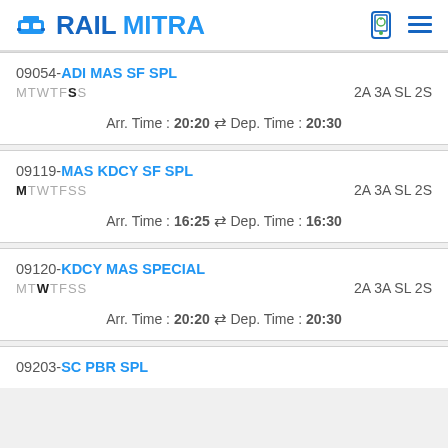RAILMITRA
09054-ADI MAS SF SPL, MTWTFSS, 2A 3A SL 2S, Arr. Time: 20:20, Dep. Time: 20:30
09119-MAS KDCY SF SPL, MTWTFSS, 2A 3A SL 2S, Arr. Time: 16:25, Dep. Time: 16:30
09120-KDCY MAS SPECIAL, MTWTFSS, 2A 3A SL 2S, Arr. Time: 20:20, Dep. Time: 20:30
09203-SC PBR SPL